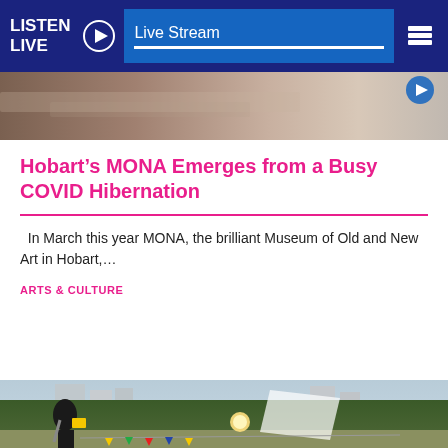LISTEN LIVE   Live Stream
[Figure (photo): Blurred motion photo strip, partial image at top of page]
Hobart’s MONA Emerges from a Busy COVID Hibernation
In March this year MONA, the brilliant Museum of Old and New Art in Hobart,…
ARTS & CULTURE
[Figure (photo): Outdoor scene with person holding a yellow book/folder, stage lights, trees and city buildings in background, bunting flags visible]